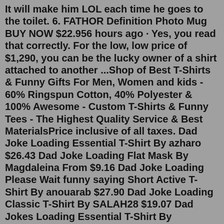It will make him LOL each time he goes to the toilet. 6. FATHOR Definition Photo Mug BUY NOW $22.956 hours ago · Yes, you read that correctly. For the low, low price of $1,290, you can be the lucky owner of a shirt attached to another ...Shop of Best T-Shirts & Funny Gifts For Men, Women and kids - 60% Ringspun Cotton, 40% Polyester & 100% Awesome - Custom T-Shirts & Funny Tees - The Highest Quality Service & Best MaterialsPrice inclusive of all taxes. Dad Joke Loading Essential T-Shirt By azharo $26.43 Dad Joke Loading Flat Mask By Magdaleina From $9.16 Dad Joke Loading Please Wait funny saying Short Active T-Shirt By anouarab $27.90 Dad Joke Loading Classic T-Shirt By SALAH28 $19.07 Dad Jokes Loading Essential T-Shirt By taraJcreative $22.66 Dad Joke Loading Please Wait Classic T-Shirt13 hours ago · Luke 12:53 - The father shall be divided against the son, and the son against the father; the mother against the daughter, and the daughter against the mother; the mother in law against her daughter in law, and the